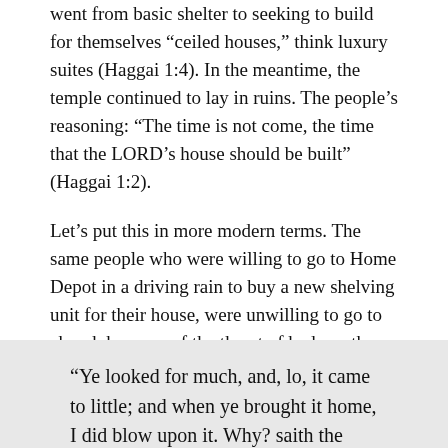went from basic shelter to seeking to build for themselves “ceiled houses,” think luxury suites (Haggai 1:4). In the meantime, the temple continued to lay in ruins. The people’s reasoning: “The time is not come, the time that the LORD’s house should be built” (Haggai 1:2).
Let’s put this in more modern terms. The same people who were willing to go to Home Depot in a driving rain to buy a new shelving unit for their house, were unwilling to go to church because of the threat of bad weather. Their priorities were wrong, and they couldn’t understand why things weren’t working out for them.
“Ye looked for much, and, lo, it came to little; and when ye brought it home, I did blow upon it. Why? saith the LORD of hosts. Because of mine house that is waste, and ye